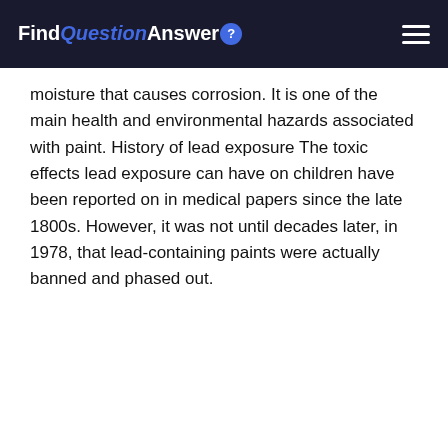FindQuestionAnswer
moisture that causes corrosion. It is one of the main health and environmental hazards associated with paint. History of lead exposure The toxic effects lead exposure can have on children have been reported on in medical papers since the late 1800s. However, it was not until decades later, in 1978, that lead-containing paints were actually banned and phased out.